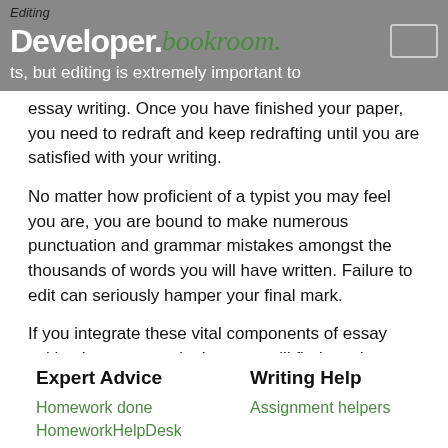Editing
[Figure (logo): Developer.bookroom.com logo overlaid on grey header bar with white box outline in top right corner]
ts, but editing is extremely important to essay writing. Once you have finished your paper, you need to redraft and keep redrafting until you are satisfied with your writing.
No matter how proficient of a typist you may feel you are, you are bound to make numerous punctuation and grammar mistakes amongst the thousands of words you will have written. Failure to edit can seriously hamper your final mark.
If you integrate these vital components of essay writing into your work, then you will find much success in your paper writing endeavors.
Expert Advice
Writing Help
Homework done
Assignment helpers
HomeworkHelpDesk